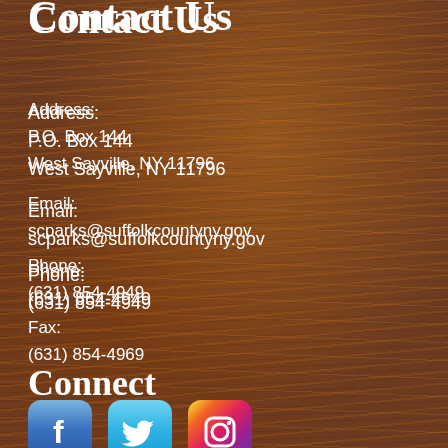Contact Us
Address:
P.O. Box 144
West Sayville, NY 11796
Email:
scparks@suffolkcountyny.gov
Phone:
(631) 854-4949
Fax:
(631) 854-4969
Connect
[Figure (logo): Facebook logo icon with white 'f' on blue gradient rounded square background]
[Figure (logo): Twitter logo icon with white bird on light blue rounded square background]
[Figure (logo): Instagram logo icon with white camera outline on colorful gradient rounded square background]